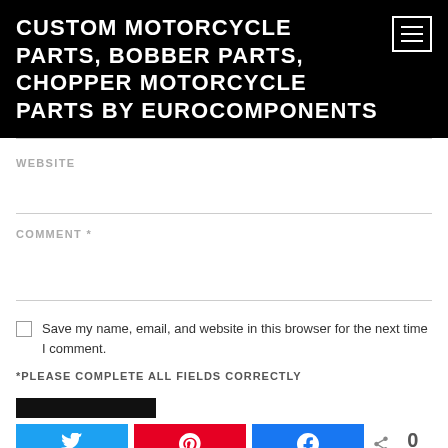CUSTOM MOTORCYCLE PARTS, BOBBER PARTS, CHOPPER MOTORCYCLE PARTS BY EUROCOMPONENTS
WEBSITE
COMMENT *
Save my name, email, and website in this browser for the next time I comment.
*PLEASE COMPLETE ALL FIELDS CORRECTLY
[Figure (screenshot): Social sharing buttons: Twitter bird icon (blue), Pinterest P icon (red), Facebook f icon (blue), share icon with count 0 SHARES]